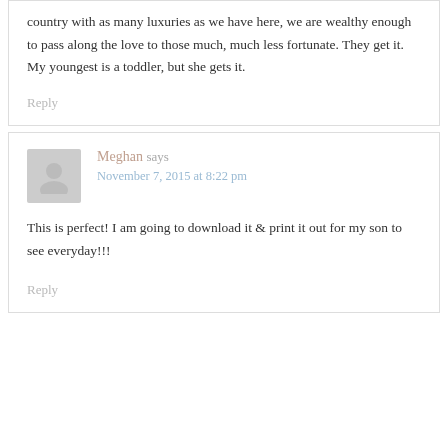country with as many luxuries as we have here, we are wealthy enough to pass along the love to those much, much less fortunate. They get it. My youngest is a toddler, but she gets it.
Reply
Meghan says
November 7, 2015 at 8:22 pm
This is perfect! I am going to download it & print it out for my son to see everyday!!!
Reply